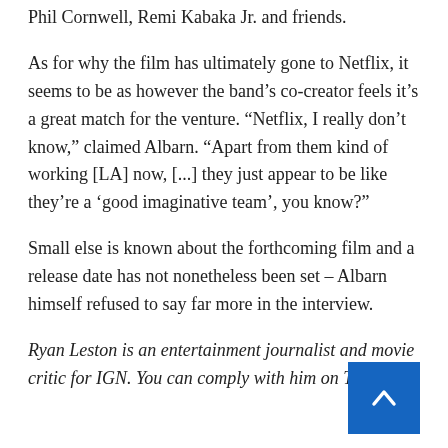Phil Cornwell, Remi Kabaka Jr. and friends.
As for why the film has ultimately gone to Netflix, it seems to be as however the band’s co-creator feels it’s a great match for the venture. “Netflix, I really don’t know,” claimed Albarn. “Apart from them kind of working [LA] now, [...] they just appear to be like they’re a ‘good imaginative team’, you know?”
Small else is known about the forthcoming film and a release date has not nonetheless been set – Albarn himself refused to say far more in the interview.
Ryan Leston is an entertainment journalist and movie critic for IGN. You can comply with him on Twitter.